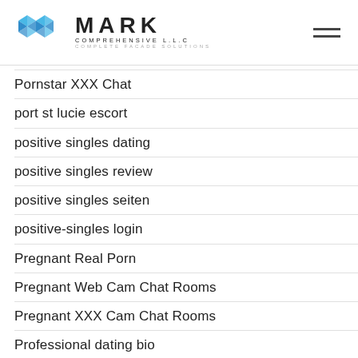MARK COMPREHENSIVE L.L.C — COMPLETE FACADE SOLUTIONS
Pornstar XXX Chat
port st lucie escort
positive singles dating
positive singles review
positive singles seiten
positive-singles login
Pregnant Real Porn
Pregnant Web Cam Chat Rooms
Pregnant XXX Cam Chat Rooms
Professional dating bio